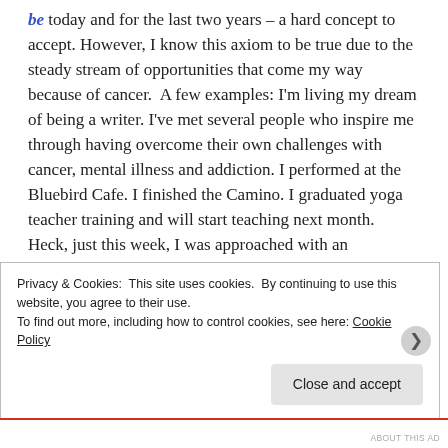be today and for the last two years – a hard concept to accept. However, I know this axiom to be true due to the steady stream of opportunities that come my way because of cancer.  A few examples: I'm living my dream of being a writer. I've met several people who inspire me through having overcome their own challenges with cancer, mental illness and addiction. I performed at the Bluebird Cafe. I finished the Camino. I graduated yoga teacher training and will start teaching next month.  Heck, just this week, I was approached with an opportunity to share my experience to aid in bringing new drugs and treatments to neuroendocrine cancer patients in the United States. All of this would have never happened if
Privacy & Cookies:  This site uses cookies.  By continuing to use this website, you agree to their use.
To find out more, including how to control cookies, see here: Cookie Policy